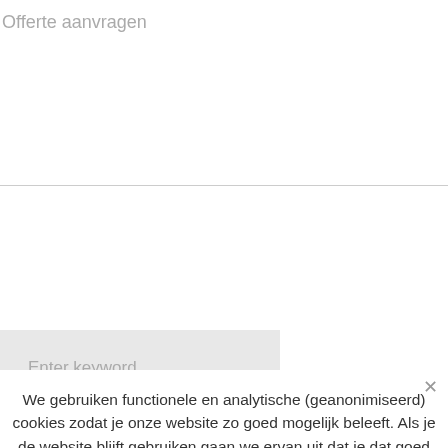Offerte aanvragen
[Figure (screenshot): Search input field with placeholder text 'Enter keyword' on a light gray background]
We gebruiken functionele en analytische (geanonimiseerd) cookies zodat je onze website zo goed mogelijk beleeft. Als je de website blijft gebruiken gaan we ervan uit dat je dat goed vindt.
Ok  Privacy policy